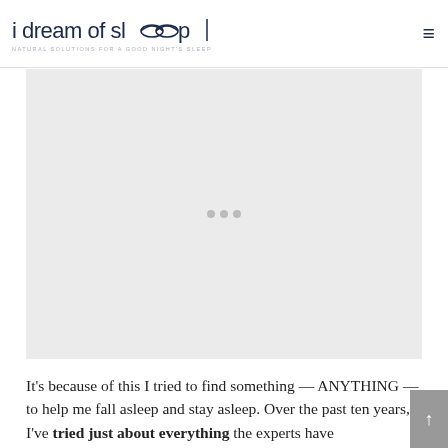i dream of sleep — NATURAL SOLUTIONS FOR A GOOD NIGHT'S SLEEP
[Figure (photo): Large image placeholder with light gray background, appears to be a blog post hero image related to sleep]
It's because of this I tried to find something — ANYTHING — to help me fall asleep and stay asleep. Over the past ten years, I've tried just about everything the experts have